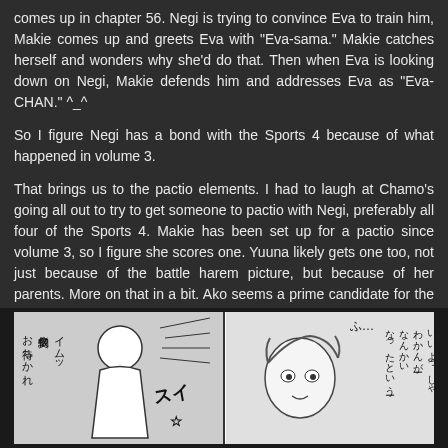comes up in chapter 56. Negi is trying to convince Eva to train him, Makie comes up and greets Eva with "Eva-sama." Makie catches herself and wonders why she'd do that. Then when Eva is looking down on Negi, Makie defends him and addresses Eva as "Eva-CHAN." ^_^
So I figure Negi has a bond with the Sports 4 because of what happened in volume 3.
That brings us to the pactio elements. I had to laugh at Chamo's going all out to try to get someone to pactio with Negi, preferably all four of the Sports 4. Makie has been set up for a pactio since volume 3, so I figure she scores one. Yuuna likely gets one too, not just because of the battle harem picture, but because of her parents. More on that in a bit. Ako seems a prime candidate for the sleeping kiss (and I did laugh at the jabs taken innocently at Chisame, who scored her pactio with a sleeping kiss) but she did toss the pill away and may not do it. Akira seems the least likely to me. We'll see what happens though.
[Figure (illustration): Manga panel showing anime characters with Japanese text speech bubbles. Left panel shows characters with Japanese text including お待ちかれ 仮契約タイムッ and other Japanese characters, with action sound effects. Right panel shows a close-up of a character's face with Japanese text ふ...]